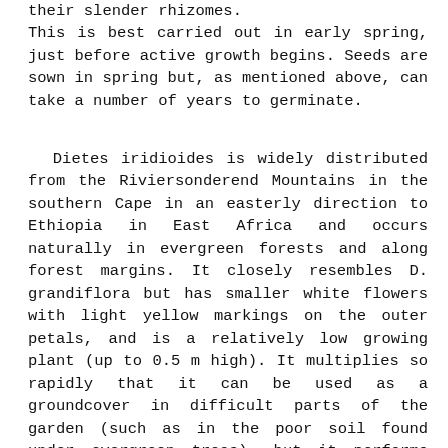their slender rhizomes. This is best carried out in early spring, just before active growth begins. Seeds are sown in spring but, as mentioned above, can take a number of years to germinate.
Dietes iridioides is widely distributed from the Riviersonderend Mountains in the southern Cape in an easterly direction to Ethiopia in East Africa and occurs naturally in evergreen forests and along forest margins. It closely resembles D. grandiflora but has smaller white flowers with light yellow markings on the outer petals, and is a relatively low growing plant (up to 0.5 m high). It multiplies so rapidly that it can be used as a groundcover in difficult parts of the garden (such as in the poor soil found under evergreen trees), but it performs equally well in lightly shaded or full sun positions. Young plantlets often develop along the flower stems, rooting when they touch the ground. It is an excellent subject for stabilizing steep banks, is equally useful as a thick border, and it can even be grown in difficult seaside gardens. Certain forms of D. iridioides can withstand